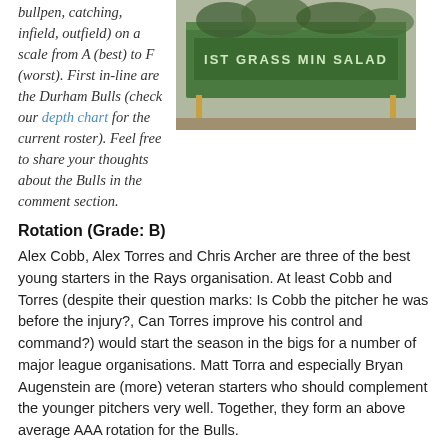bullpen, catching, infield, outfield) on a scale from A (best) to F (worst). First in-line are the Durham Bulls (check our depth chart for the current roster). Feel free to share your thoughts about the Bulls in the comment section.
[Figure (photo): Photo of a baseball stadium scoreboard with green background reading 'IST GRASS MIN SALAD']
Rotation (Grade: B)
Alex Cobb, Alex Torres and Chris Archer are three of the best young starters in the Rays organisation. At least Cobb and Torres (despite their question marks: Is Cobb the pitcher he was before the injury?, Can Torres improve his control and command?) would start the season in the bigs for a number of major league organisations. Matt Torra and especially Bryan Augenstein are (more) veteran starters who should complement the younger pitchers very well. Together, they form an above average AAA rotation for the Bulls.
Bullpen (Grade: B)